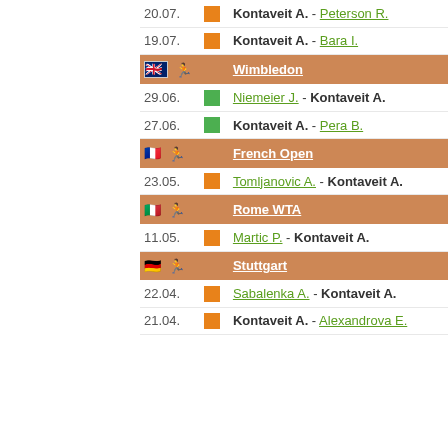| Date | Type | Match |
| --- | --- | --- |
| 20.07. | orange | Kontaveit A. - Peterson R. |
| 19.07. | orange | Kontaveit A. - Bara I. |
| [Wimbledon] |  |  |
| 29.06. | green | Niemeier J. - Kontaveit A. |
| 27.06. | green | Kontaveit A. - Pera B. |
| [French Open] |  |  |
| 23.05. | orange | Tomljanovic A. - Kontaveit A. |
| [Rome WTA] |  |  |
| 11.05. | orange | Martic P. - Kontaveit A. |
| [Stuttgart] |  |  |
| 22.04. | orange | Sabalenka A. - Kontaveit A. |
| 21.04. | orange | Kontaveit A. - Alexandrova E. |
We Care About Your Privacy
We and our partners store and/or access information on a device, such as unique IDs in cookies to process personal data. You may accept or manage your choices by clicking below or at any time in the privacy policy page. These choices will be signaled to our partners and will not affect browsing data.
We and our partners process data to provide:
Use precise geolocation data. Actively scan device characteristics for identification. Store and/or access information on a device. Personalised ads and content, ad and content measurement, audience insights and product development.
List of Partners (vendors)